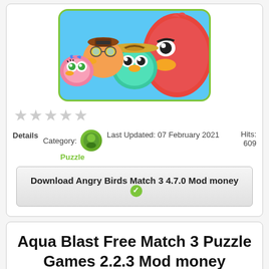[Figure (illustration): Angry Birds Match 3 game artwork showing colorful cartoon birds wearing hats against a blue background, with a green rounded border.]
[Figure (other): Five gray star rating icons (empty/unrated)]
Details   Category:  Puzzle   Last Updated: 07 February 2021   Hits: 609
Download Angry Birds Match 3 4.7.0 Mod money ✓
Aqua Blast Free Match 3 Puzzle Games 2.2.3 Mod money